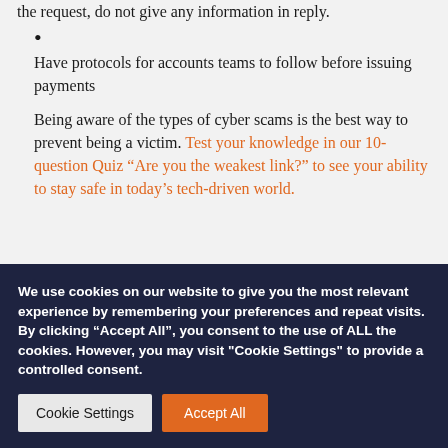the request, do not give any information in reply.
Have protocols for accounts teams to follow before issuing payments
Being aware of the types of cyber scams is the best way to prevent being a victim. Test your knowledge in our 10-question Quiz “Are you the weakest link?” to see your ability to stay safe in today’s tech-driven world.
We use cookies on our website to give you the most relevant experience by remembering your preferences and repeat visits. By clicking “Accept All”, you consent to the use of ALL the cookies. However, you may visit "Cookie Settings" to provide a controlled consent.